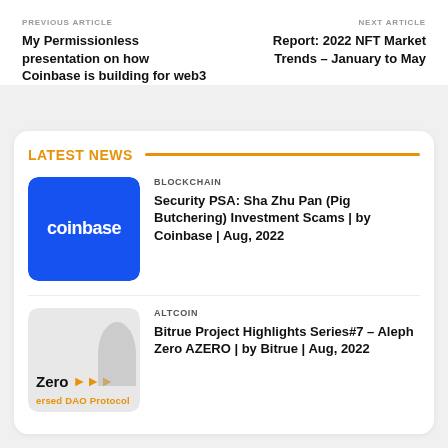PREVIOUS ARTICLE
My Permissionless presentation on how Coinbase is building for web3
NEXT ARTICLE
Report: 2022 NFT Market Trends – January to May
LATEST NEWS
BLOCKCHAIN
[Figure (logo): Coinbase blue rounded square logo with white text 'coinbase']
Security PSA: Sha Zhu Pan (Pig Butchering) Investment Scams | by Coinbase | Aug, 2022
ALTCOIN
[Figure (logo): Aleph Zero AZERO logo with orange arrows and grey figure]
Bitrue Project Highlights Series#7 – Aleph Zero AZERO | by Bitrue | Aug, 2022